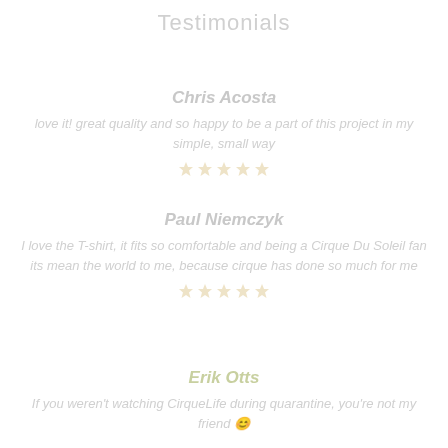Testimonials
Chris Acosta
love it! great quality and so happy to be a part of this project in my simple, small way
[Figure (other): 5 star rating icons for Chris Acosta]
Paul Niemczyk
I love the T-shirt, it fits so comfortable and being a Cirque Du Soleil fan its mean the world to me, because cirque has done so much for me
[Figure (other): 5 star rating icons for Paul Niemczyk]
Erik Otts
If you weren't watching CirqueLife during quarantine, you're not my friend 😊